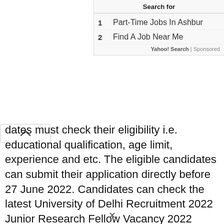[Figure (screenshot): Advertisement panel showing 'Search for' with two sponsored listings: '1 Part-Time Jobs In Ashburn' and '2 Find A Job Near Me', attributed to Yahoo! Search | Sponsored]
dates must check their eligibility i.e. educational qualification, age limit, experience and etc. The eligible candidates can submit their application directly before 27 June 2022. Candidates can check the latest University of Delhi Recruitment 2022 Junior Research Fellow Vacancy 2022 details and apply online at the www.du.ac.in/ recruitment 2022 page.